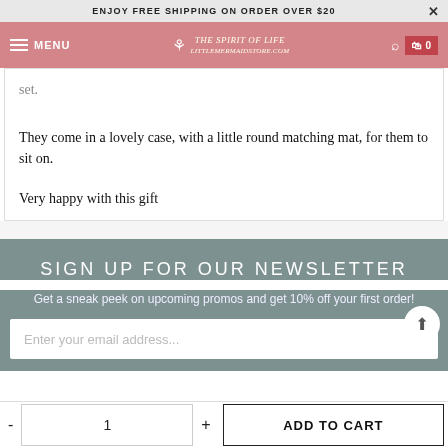ENJOY FREE SHIPPING ON ORDER OVER $20
MENU | THE SPIRIT OF LIFE | 0
set.
They come in a lovely case, with a little round matching mat, for them to sit on.
Very happy with this gift
SIGN UP FOR OUR NEWSLETTER
Get a sneak peek on upcoming promos and get 10% off your first order!
Enter your email address...
- 1 + ADD TO CART